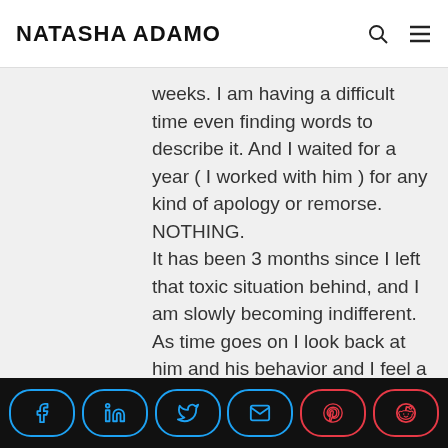NATASHA ADAMO
weeks. I am having a difficult time even finding words to describe it. And I waited for a year ( I worked with him ) for any kind of apology or remorse. NOTHING.
It has been 3 months since I left that toxic situation behind, and I am slowly becoming indifferent. As time goes on I look back at him and his behavior and I feel a shudder go down my spine at the person he really is behind the mask. And I become grateful it's in
[Figure (screenshot): Social share bar with Facebook, LinkedIn, Twitter, Email, Pinterest, and Reddit buttons on a dark background]